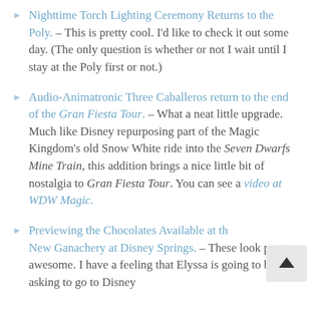Nighttime Torch Lighting Ceremony Returns to the Poly. – This is pretty cool. I'd like to check it out some day. (The only question is whether or not I wait until I stay at the Poly first or not.)
Audio-Animatronic Three Caballeros return to the end of the Gran Fiesta Tour. – What a neat little upgrade. Much like Disney repurposing part of the Magic Kingdom's old Snow White ride into the Seven Dwarfs Mine Train, this addition brings a nice little bit of nostalgia to Gran Fiesta Tour. You can see a video at WDW Magic.
Previewing the Chocolates Available at the New Ganachery at Disney Springs. – These look pretty awesome. I have a feeling that Elyssa is going to be asking to go to Disney